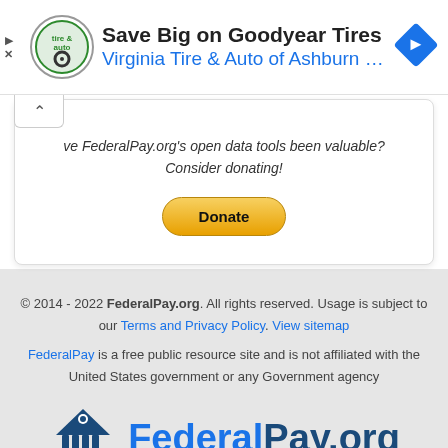[Figure (screenshot): Advertisement banner for Virginia Tire & Auto of Ashburn with Goodyear Tires promotion, showing circular logo with tire and auto icon, bold headline 'Save Big on Goodyear Tires', subtitle 'Virginia Tire & Auto of Ashburn ...' in blue, and a blue diamond navigation arrow icon on the right]
Have FederalPay.org's open data tools been valuable? Consider donating!
[Figure (other): Yellow PayPal Donate button]
© 2014 - 2022 FederalPay.org. All rights reserved. Usage is subject to our Terms and Privacy Policy. View sitemap

FederalPay is a free public resource site and is not affiliated with the United States government or any Government agency
[Figure (logo): FederalPay.org logo with dark blue government building/capitol icon and bold text FederalPay.org]